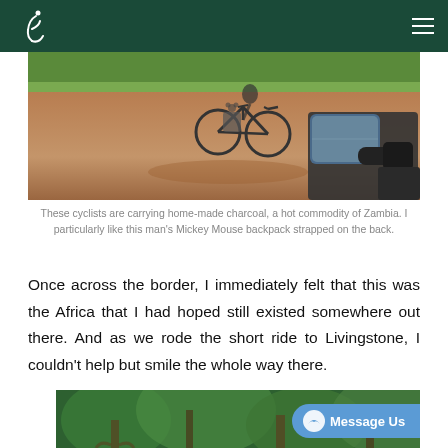Navigation header with logo and menu
[Figure (photo): Aerial view of cyclists carrying home-made charcoal on a dusty red dirt road in Zambia, with a motorcycle mirror visible in the foreground right.]
These cyclists are carrying home-made charcoal, a hot commodity of Zambia. I particularly like this man's Mickey Mouse backpack strapped on the back.
Once across the border, I immediately felt that this was the Africa that I had hoped still existed somewhere out there. And as we rode the short ride to Livingstone, I couldn't help but smile the whole way there.
[Figure (photo): Lush green jungle/forest scene with large trees and dense vegetation, partially visible at the bottom of the page. A 'Message Us' button overlay appears in the lower right.]